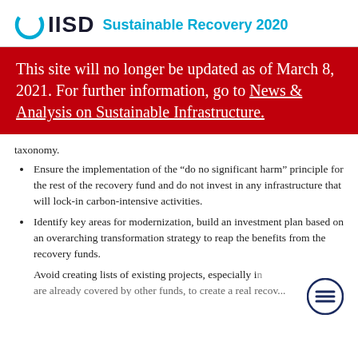IISD Sustainable Recovery 2020
This site will no longer be updated as of March 8, 2021. For further information, go to News & Analysis on Sustainable Infrastructure.
taxonomy.
Ensure the implementation of the “do no significant harm” principle for the rest of the recovery fund and do not invest in any infrastructure that will lock-in carbon-intensive activities.
Identify key areas for modernization, build an investment plan based on an overarching transformation strategy to reap the benefits from the recovery funds.
Avoid creating lists of existing projects, especially in are already covered by other funds, to create a real recov...